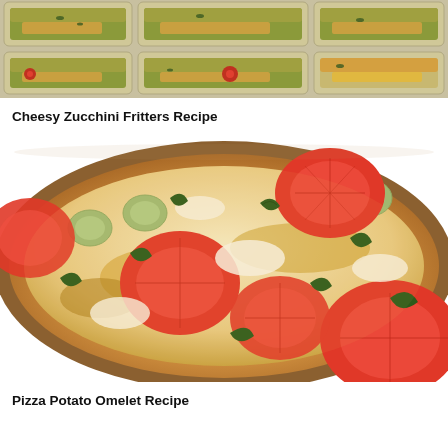[Figure (photo): Cheesy zucchini fritters in glass meal prep containers arranged in a grid, top-down view]
Cheesy Zucchini Fritters Recipe
[Figure (photo): Pizza potato omelet in a round glass baking dish with tomato slices, zucchini, melted mozzarella, and fresh green basil on top]
Pizza Potato Omelet Recipe